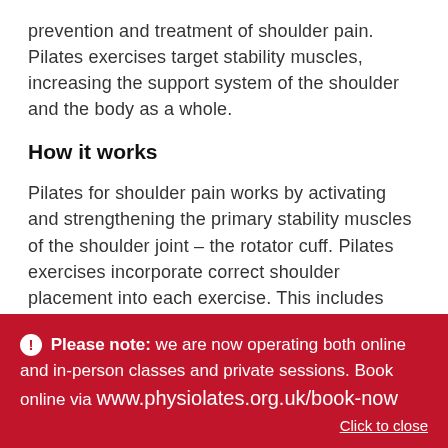prevention and treatment of shoulder pain. Pilates exercises target stability muscles, increasing the support system of the shoulder and the body as a whole.
How it works
Pilates for shoulder pain works by activating and strengthening the primary stability muscles of the shoulder joint – the rotator cuff. Pilates exercises incorporate correct shoulder placement into each exercise. This includes shoulder blade placement in static,
Please note: we are now operating both online and in-person classes and private sessions. Book online via www.physiolates.org.uk/book-now
Click to close